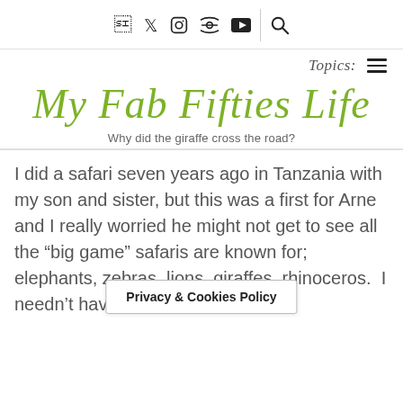Social icons: f, Twitter, Instagram, Pinterest, YouTube | Search
Topics: ≡
My Fab Fifties Life
Why did the giraffe cross the road?
I did a safari seven years ago in Tanzania with my son and sister, but this was a first for Arne and I really worried he might not get to see all the “big game” safaris are known for; elephants, zebras, lions, giraffes, rhinoceros.  I needn’t have worried. Yes, we saw
Privacy & Cookies Policy